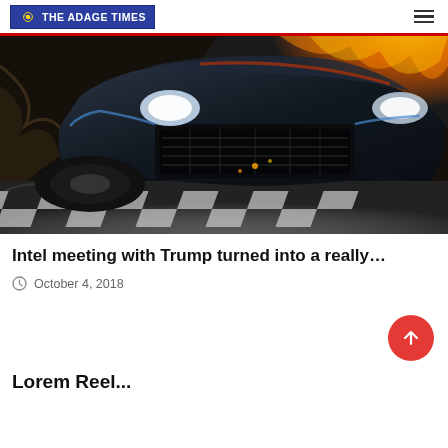THE ADAGE TIMES
[Figure (photo): Close-up action shot of a dark muscle car with aggressive front grille, caught mid-motion over a checkered black-and-white surface with fire/explosion in the background]
Intel meeting with Trump turned into a really…
October 4, 2018